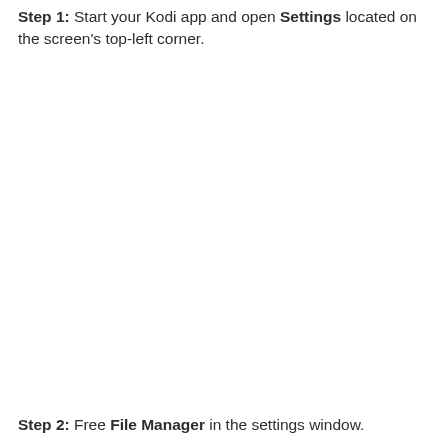Step 1: Start your Kodi app and open Settings located on the screen's top-left corner.
Step 2: Free File Manager in the settings window.